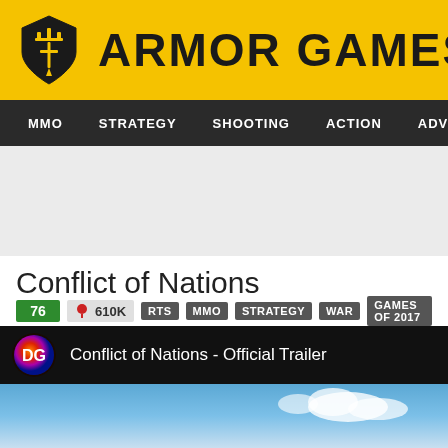[Figure (logo): Armor Games logo with yellow background, shield icon, and ARMOR GAMES text]
MMO  STRATEGY  SHOOTING  ACTION  ADVENTURE  P
Conflict of Nations
76  🎯 610K  RTS  MMO  STRATEGY  WAR  GAMES OF 2017
[Figure (screenshot): Conflict of Nations - Official Trailer video player with Dorado Games logo and sky background thumbnail]